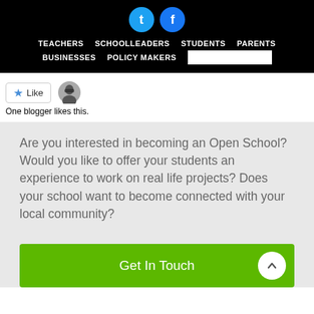TEACHERS  SCHOOLLEADERS  STUDENTS  PARENTS  BUSINESSES  POLICY MAKERS
[Figure (screenshot): Like button with blue star icon and a blogger avatar. Text reads: One blogger likes this.]
Are you interested in becoming an Open School? Would you like to offer your students an experience to work on real life projects? Does your school want to become connected with your local community?
Get In Touch